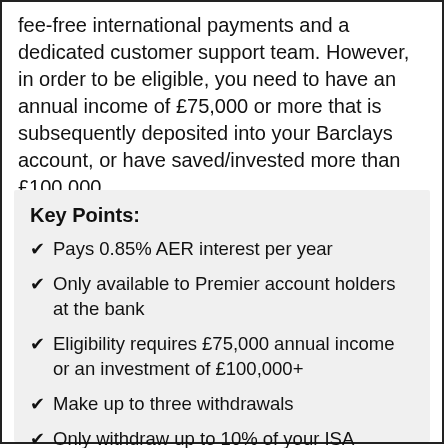fee-free international payments and a dedicated customer support team. However, in order to be eligible, you need to have an annual income of £75,000 or more that is subsequently deposited into your Barclays account, or have saved/invested more than £100,000.
Key Points:
Pays 0.85% AER interest per year
Only available to Premier account holders at the bank
Eligibility requires £75,000 annual income or an investment of £100,000+
Make up to three withdrawals
Only withdraw up to 10% of your ISA balance